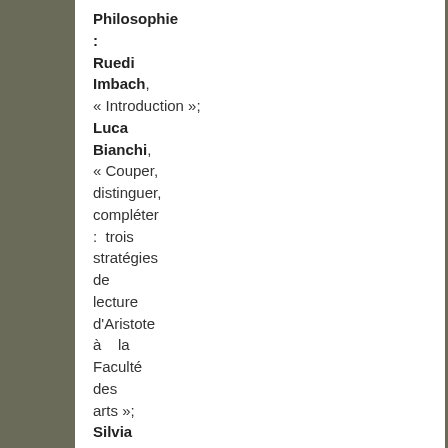Philosophie : Ruedi Imbach, « Introduction » ; Luca Bianchi, « Couper, distinguer, compléter : trois stratégies de lecture d'Aristote à la Faculté des arts » ; Silvia Donati, « Pseudepigrapha